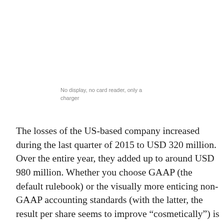No display, no card reader, only a charger
The losses of the US-based company increased during the last quarter of 2015 to USD 320 million. Over the entire year, they added up to around USD 980 million. Whether you choose GAAP (the default rulebook) or the visually more enticing non-GAAP accounting standards (with the latter, the result per share seems to improve “cosmetically”) is not the main question. The larger issue is whether the trend points to a balanced result or…